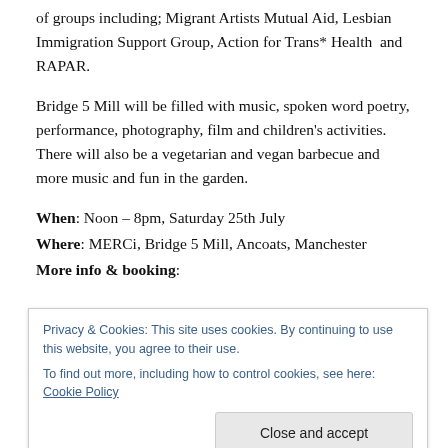of groups including; Migrant Artists Mutual Aid, Lesbian Immigration Support Group, Action for Trans* Health and RAPAR.
Bridge 5 Mill will be filled with music, spoken word poetry, performance, photography, film and children's activities. There will also be a vegetarian and vegan barbecue and more music and fun in the garden.
When: Noon – 8pm, Saturday 25th July
Where: MERCi, Bridge 5 Mill, Ancoats, Manchester
More info & booking:
Privacy & Cookies: This site uses cookies. By continuing to use this website, you agree to their use. To find out more, including how to control cookies, see here: Cookie Policy
Close and accept
Pollination documentary, Afflecks